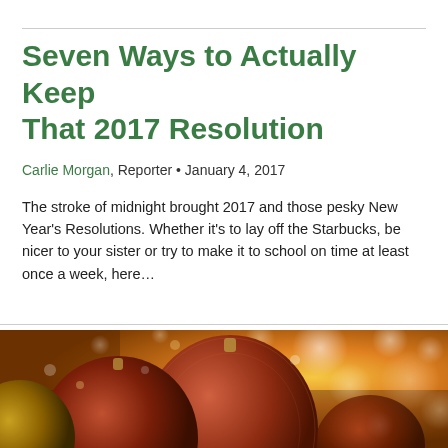Seven Ways to Actually Keep That 2017 Resolution
Carlie Morgan, Reporter • January 4, 2017
The stroke of midnight brought 2017 and those pesky New Year's Resolutions. Whether it's to lay off the Starbucks, be nicer to your sister or try to make it to school on time at least once a week, here…
[Figure (photo): Close-up photo of red and gold glittery Christmas ornament balls with warm bokeh golden light background]